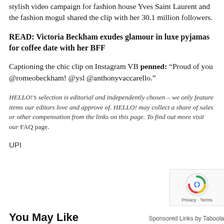stylish video campaign for fashion house Yves Saint Laurent and the fashion mogul shared the clip with her 30.1 million followers.
READ: Victoria Beckham exudes glamour in luxe pyjamas for coffee date with her BFF
Captioning the chic clip on Instagram VB penned: “Proud of you @romeobeckham! @ysl @anthonyvaccarello.”
HELLO!'s selection is editorial and independently chosen – we only feature items our editors love and approve of. HELLO! may collect a share of sales or other compensation from the links on this page. To find out more visit our FAQ page.
UPI
You May Like
Sponsored Links by Taboola